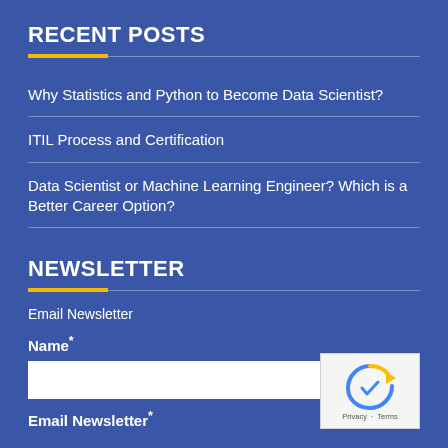RECENT POSTS
Why Statistics and Python to Become Data Scientist?
ITIL Process and Certification
Data Scientist or Machine Learning Engineer? Which is a Better Career Option?
NEWSLETTER
Email Newsletter
Name*
Email Newsletter*